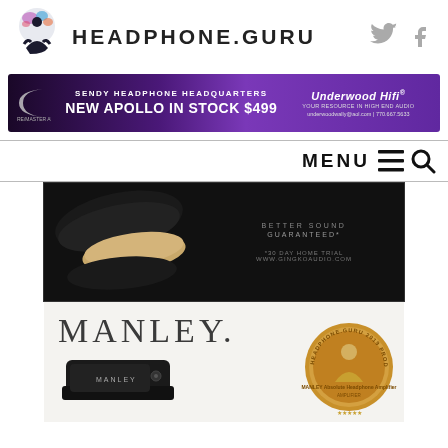[Figure (logo): Headphone.Guru logo with meditating figure wearing headphones and colorful splashes, next to site name HEADPHONE.GURU and Twitter/Facebook icons]
[Figure (infographic): Sendy Headphone Headquarters ad banner: NEW APOLLO IN STOCK $499, Underwood HiFi, underwoodwally@aol.com | 770.667.5633]
[Figure (infographic): Navigation bar with MENU text, hamburger icon, and search icon]
[Figure (photo): Gingko Audio dark ad banner with wooden speaker/isolation platform products, text: BETTER SOUND GUARANTEED* *30 DAY HOME TRIAL WWW.GINGKOAUDIO.COM]
[Figure (photo): Manley ad banner with large MANLEY. text, a gold Headphone.Guru 2019 Product of the Year award medallion for MANLEY Absolute Headphone Amplifier, and a dark amplifier device]